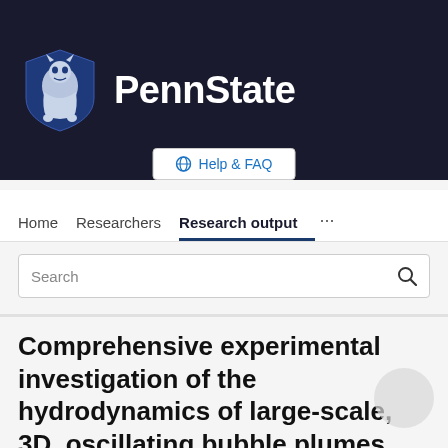[Figure (logo): Penn State University logo with shield mascot and PennState text on dark navy background]
Help & FAQ
Home   Researchers   Research output   ...
Search
Comprehensive experimental investigation of the hydrodynamics of large-scale, 3D, oscillating bubble plumes